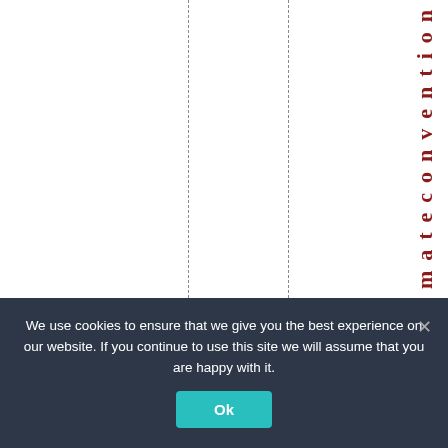[Figure (other): Page with vertical dashed column guide lines and vertical rotated bold red text reading 'Nclimateconvention' along the right side]
We use cookies to ensure that we give you the best experience on our website. If you continue to use this site we will assume that you are happy with it.
Ok